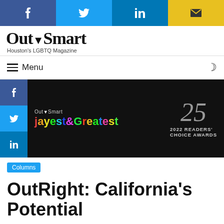[Figure (screenshot): Social share bar with Facebook, Twitter, LinkedIn, and email icons]
[Figure (logo): Out-Smart Houston's LGBTQ Magazine logo]
≡ Menu
[Figure (screenshot): Out-Smart Gayest & Greatest 2022 Readers' Choice Awards banner advertisement]
Columns
OutRight: California's Potential
Dale Carpenter · June 1, 2008 · 0 · 35 · 4 minutes read